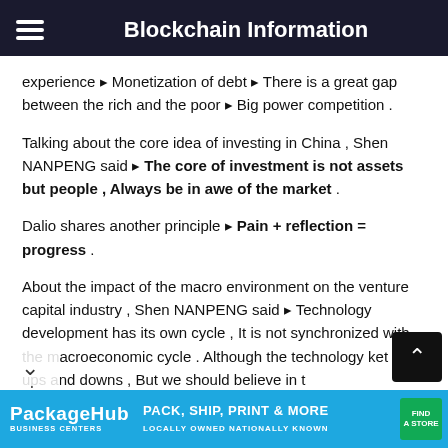Blockchain Information
experience ▸ Monetization of debt ▸ There is a great gap between the rich and the poor ▸ Big power competition .
Talking about the core idea of investing in China , Shen NANPENG said ▸ The core of investment is not assets but people , Always be in awe of the market .
Dalio shares another principle ▸ Pain + reflection = progress .
About the impact of the macro environment on the venture capital industry , Shen NANPENG said ▸ Technology development has its own cycle , It is not synchronized with the macroeconomic cycle . Although the technology ket has ups and downs , But we should believe in t